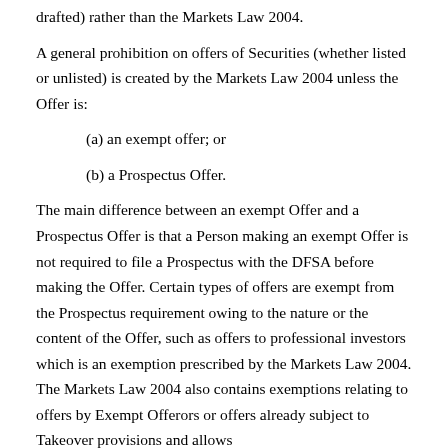drafted) rather than the Markets Law 2004.
A general prohibition on offers of Securities (whether listed or unlisted) is created by the Markets Law 2004 unless the Offer is:
(a) an exempt offer; or
(b) a Prospectus Offer.
The main difference between an exempt Offer and a Prospectus Offer is that a Person making an exempt Offer is not required to file a Prospectus with the DFSA before making the Offer. Certain types of offers are exempt from the Prospectus requirement owing to the nature or the content of the Offer, such as offers to professional investors which is an exemption prescribed by the Markets Law 2004. The Markets Law 2004 also contains exemptions relating to offers by Exempt Offerors or offers already subject to Takeover provisions and allows